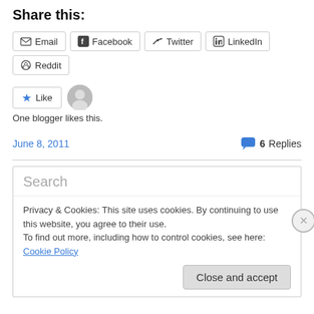Share this:
Email  Facebook  Twitter  LinkedIn  Reddit
Like  [avatar]
One blogger likes this.
June 8, 2011
6 Replies
Search
Privacy & Cookies: This site uses cookies. By continuing to use this website, you agree to their use.
To find out more, including how to control cookies, see here: Cookie Policy
Close and accept